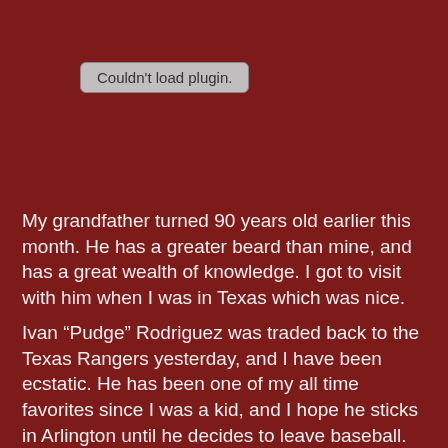[Figure (screenshot): Browser plugin error placeholder reading 'Couldn't load plugin.' in a gray rounded rectangle on dark red background]
My grandfather turned 90 years old earlier this month. He has a greater beard than mine, and has a great wealth of knowledge. I got to visit with him when I was in Texas which was nice.
Ivan “Pudge” Rodriguez was traded back to the Texas Rangers yesterday, and I have been ecstatic. He has been one of my all time favorites since I was a kid, and I hope he sticks in Arlington until he decides to leave baseball. The Rangers have been great this year, and while were way back in the West right now the Wild Card is still in reach. Hoping for baseball in October in Texas.